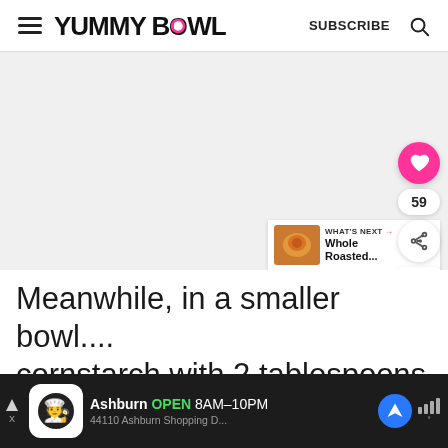YUMMY BOWL | SUBSCRIBE
[Figure (photo): Large food image area (light gray placeholder), with side buttons: heart/like button (pink, 59 count), share button, and save button. What's Next card shows 'Whole Roasted...' with food thumbnail.]
Meanwhile, in a smaller bowl.... cornstarch with 2 tablespoons of w...
[Figure (screenshot): Ad bar at bottom: Ashburn restaurant ad. Shows chef icon, 'Ashburn OPEN 8AM-10PM', address '44110 Ashburn Shopping D...' with navigation icon and signal bars icon.]